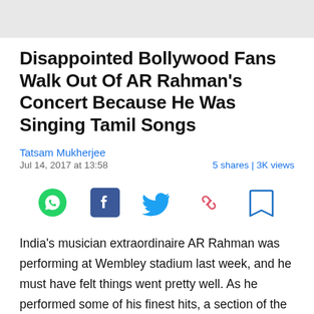Disappointed Bollywood Fans Walk Out Of AR Rahman's Concert Because He Was Singing Tamil Songs
Tatsam Mukherjee
Jul 14, 2017 at 13:58 | 5 shares | 3K views
[Figure (infographic): Social sharing icons: WhatsApp (green circle with phone icon), Facebook (dark blue square with F), Twitter (blue bird), Link/copy (pink chain link), Bookmark (blue bookmark outline)]
India's musician extraordinaire AR Rahman was performing at Wembley stadium last week, and he must have felt things went pretty well. As he performed some of his finest hits, a section of the audience weren't prepared for the onslaught of Tamil